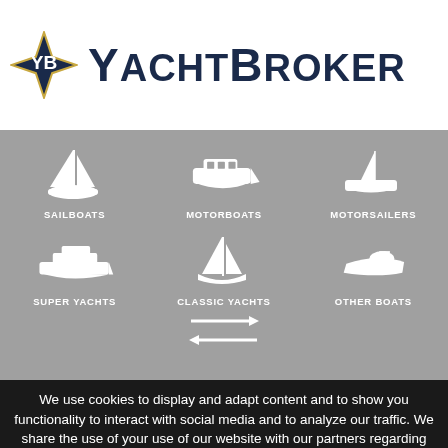[Figure (logo): YachtBroker logo with diamond-star icon containing YB initials and text YACHTBROKER in dark navy blue]
[Figure (infographic): Navigation grid on grey background showing 6 boat categories: SAILBOATS, MOTORBOATS, MOTORSAILERS, SUPER YACHTS, CLASSIC YACHTS, OTHER BOATS, each with white icon. Plus arrows indicating a toggle/swap control.]
We use cookies to display and adapt content and to show you functionality to interact with social media and to analyze our traffic. We share the use of your use of our website with our partners regarding social media and website analyzing Get more information OK Read more